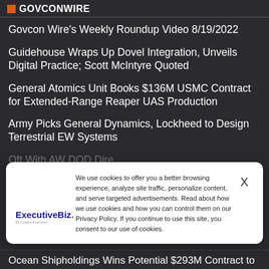GOVCONWIRE
Govcon Wire's Weekly Roundup Video 8/19/2022
Guidehouse Wraps Up Dovel Integration, Unveils Digital Practice; Scott McIntyre Quoted
General Atomics Unit Books $136M USMC Contract for Extended-Range Reaper UAS Production
Army Picks General Dynamics, Lockheed to Design Terrestrial EW Systems
[Figure (screenshot): Cookie consent modal popup from ExecutiveBiz showing logo on left and cookie policy text on right with X close button. Text reads: We use cookies to offer you a better browsing experience, analyze site traffic, personalize content, and serve targeted advertisements. Read about how we use cookies and how you can control them on our Privacy Policy. If you continue to use this site, you consent to our use of cookies.]
Ocean Shipholdings Wins Potential $293M Contract to